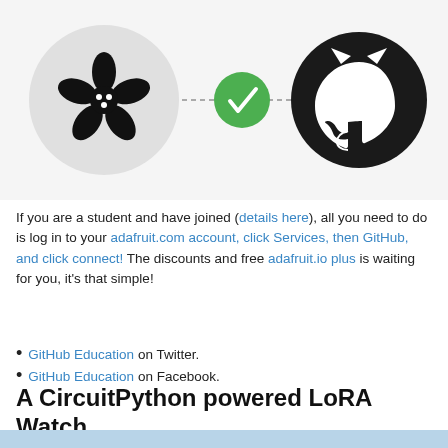[Figure (infographic): Adafruit logo (flower icon in gray circle) connected via dashed line to green checkmark circle, then connected via dashed line to GitHub logo (black cat icon). Shows integration between Adafruit and GitHub.]
If you are a student and have joined (details here), all you need to do is log in to your adafruit.com account, click Services, then GitHub, and click connect! The discounts and free adafruit.io plus is waiting for you, it's that simple!
GitHub Education on Twitter.
GitHub Education on Facebook.
A CircuitPython powered LoRA Watch
[Figure (photo): A CircuitPython powered LoRA Watch device shown from above, blue/teal colored wearable electronics device.]